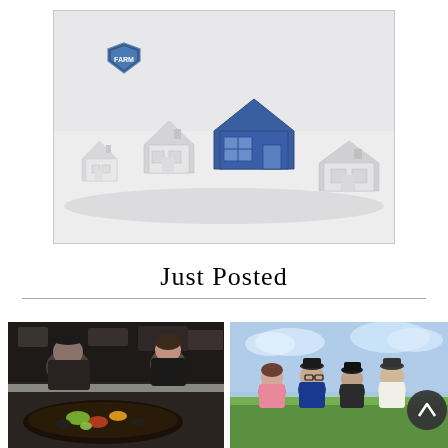[Figure (illustration): 3D render of several white miniature house models in a row with one blue/navy house standing out in the center, on a light gray background. A small shield/badge logo is visible in the upper left area of the image.]
Just Posted
[Figure (photo): Two people (a man and a woman) standing in a kitchen behind a pan of food with colorful toppings. Kitchen equipment visible in background.]
[Figure (photo): Four men standing outdoors in a field with green grass and cloudy sky. One man holds something small. A dark circular scroll-up button is visible in the lower right corner.]